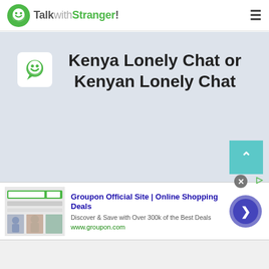TalkwithStranger!
Kenya Lonely Chat or Kenyan Lonely Chat
[Figure (logo): TalkwithStranger logo icon - green speech bubble with smiley face]
[Figure (screenshot): Groupon advertisement banner with logo and shopping images]
Groupon Official Site | Online Shopping Deals
Discover & Save with Over 300k of the Best Deals
www.groupon.com